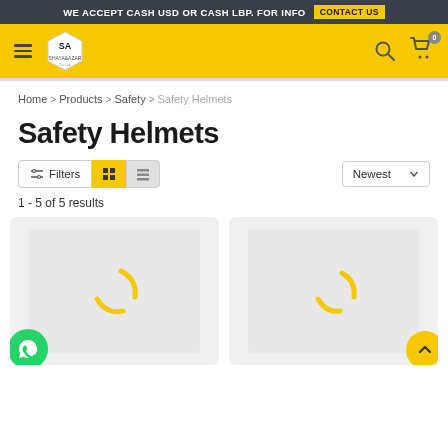WE ACCEPT CASH USD OR CASH LBP. FOR INFO  CONTACT US
[Figure (screenshot): Shaya & Azar store logo with navigation bar including hamburger menu, search icon, and cart icon with 0 badge on yellow background]
Home > Products > Safety > Safety Helmets
Safety Helmets
Filters  [grid view] [list view]   Newest
1 - 5 of 5 results
[Figure (other): Two product cards with loading spinners (yellow arcs) on light gray background, with WhatsApp chat button (green circle) and scroll-to-top button (yellow circle with up arrow)]